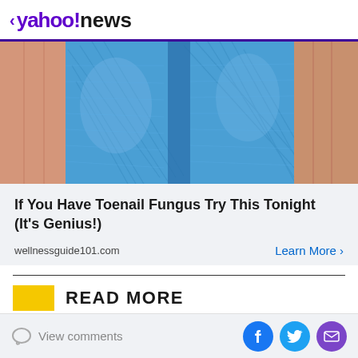< yahoo!news
[Figure (photo): Close-up photo of feet/toes wrapped in blue textured fabric or shoe cover material, held by hands. Advertisement image for toenail fungus remedy.]
If You Have Toenail Fungus Try This Tonight (It's Genius!)
wellnessguide101.com
Learn More >
READ MORE
View comments